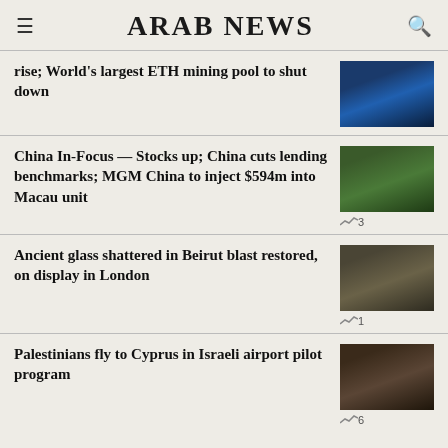ARAB NEWS
rise; World's largest ETH mining pool to shut down
China In-Focus — Stocks up; China cuts lending benchmarks; MGM China to inject $594m into Macau unit
Ancient glass shattered in Beirut blast restored, on display in London
Palestinians fly to Cyprus in Israeli airport pilot program